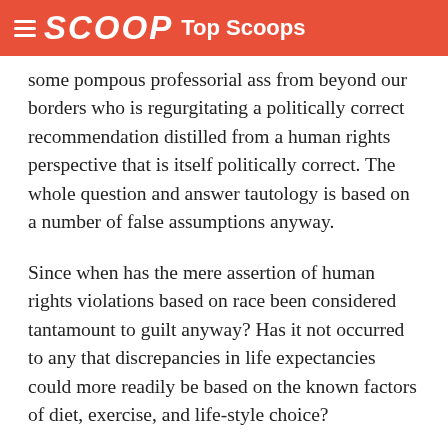SCOOP Top Scoops
some pompous professorial ass from beyond our borders who is regurgitating a politically correct recommendation distilled from a human rights perspective that is itself politically correct. The whole question and answer tautology is based on a number of false assumptions anyway.
Since when has the mere assertion of human rights violations based on race been considered tantamount to guilt anyway? Has it not occurred to any that discrepancies in life expectancies could more readily be based on the known factors of diet, exercise, and life-style choice?